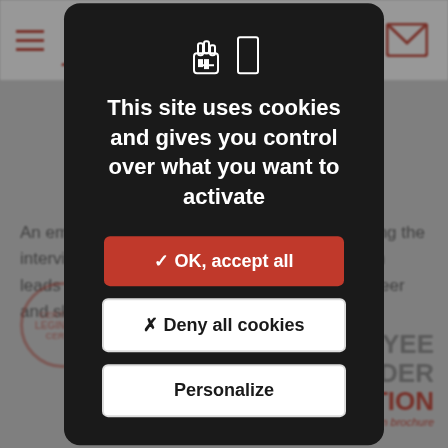[Figure (screenshot): Legendre website background showing navigation bar with hamburger menu, Legendre logo, mail icon, body text about employee training, a LEGINVEST certified stamp, and 2020 Employee Shareholder Operation branding in bottom right.]
This site uses cookies and gives you control over what you want to activate
✓ OK, accept all
✗ Deny all cookies
Personalize